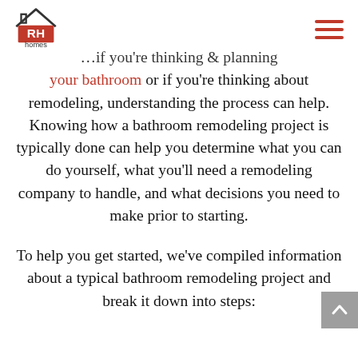RH homes
your bathroom or if you’re thinking about remodeling, understanding the process can help. Knowing how a bathroom remodeling project is typically done can help you determine what you can do yourself, what you’ll need a remodeling company to handle, and what decisions you need to make prior to starting.

To help you get started, we’ve compiled information about a typical bathroom remodeling project and break it down into steps: